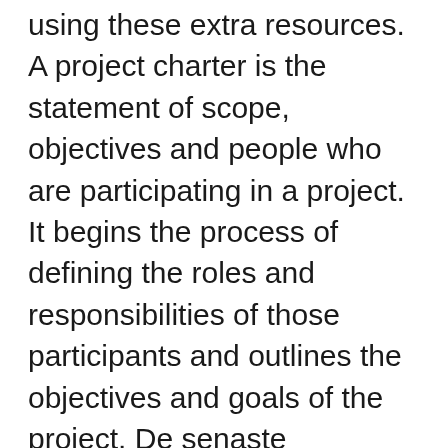using these extra resources. A project charter is the statement of scope, objectives and people who are participating in a project. It begins the process of defining the roles and responsibilities of those participants and outlines the objectives and goals of the project. De senaste tweetarna från @ProjektMelody All Projects building on Polkadot & Substrate Project64 is a completely free and open-source emulator for the Nintendo 64 and 64DD written in C++. Capable of playing your favorite N64 games on your PC with high definition graphics, excellent compatibility, save states, built-in cheat codes, and more. 2021-03-27 Project-GC is a site with the goal to provide statistics and tools for all the geocachers in the world. This will be the go to place for charts, top lists, statbars, compares,